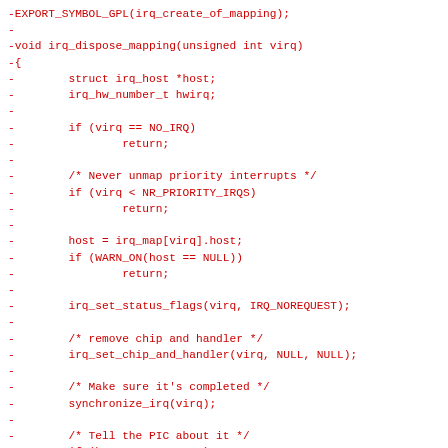[Figure (other): Source code diff snippet in red monospace font showing removal of EXPORT_SYMBOL_GPL and irq_dispose_mapping function in C]